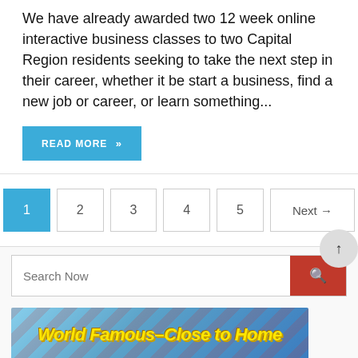We have already awarded two 12 week online interactive business classes to two Capital Region residents seeking to take the next step in their career, whether it be start a business, find a new job or career, or learn something...
READ MORE »
1 2 3 4 5 Next →
Search Now
[Figure (illustration): Banner image with text 'World Famous–Close to Home' in bold yellow italic font over a blue sky background with red diagonal streaks.]